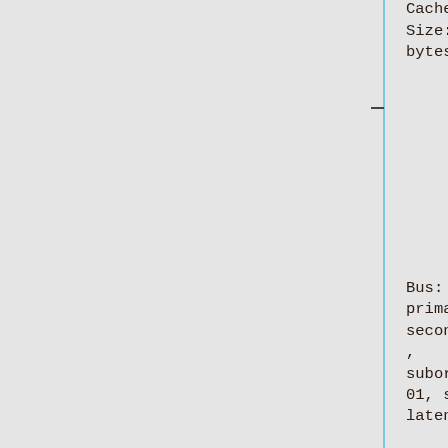[Figure (flowchart): Vertical tree/flowchart diagram showing hardware device nodes. A vertical blue line runs along the left side with horizontal dashes connecting to rounded boxes. Boxes show: (1) Latency: 0, Cache Line Size: 64 bytes; (2) Bus: primary=00, secondary=01, subordinate=01, sec-latency=0; (3) I/O behind bridge: 00001000-00001fff; (4) Memory (partial, cut off)]